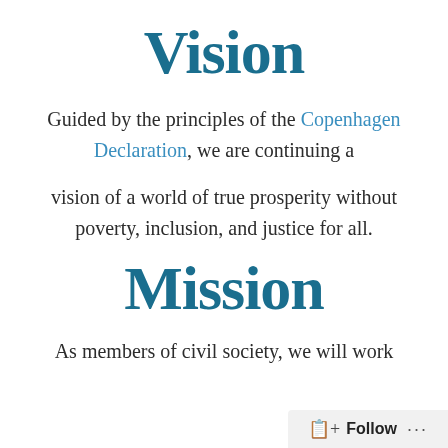Vision
Guided by the principles of the Copenhagen Declaration, we are continuing a

vision of a world of true prosperity without poverty, inclusion, and justice for all.
Mission
As members of civil society, we will work
Follow ...